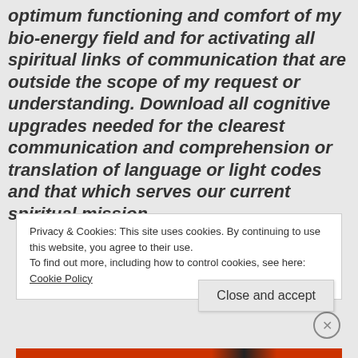optimum functioning and comfort of my bio-energy field and for activating all spiritual links of communication that are outside the scope of my request or understanding. Download all cognitive upgrades needed for the clearest communication and comprehension or translation of language or light codes and that which serves our current spiritual mission.
Privacy & Cookies: This site uses cookies. By continuing to use this website, you agree to their use. To find out more, including how to control cookies, see here: Cookie Policy
Close and accept